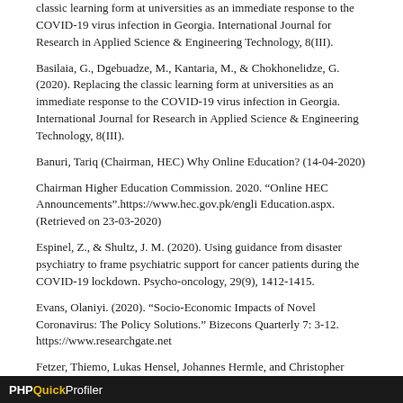classic learning form at universities as an immediate response to the COVID-19 virus infection in Georgia. International Journal for Research in Applied Science & Engineering Technology, 8(III).
Basilaia, G., Dgebuadze, M., Kantaria, M., & Chokhonelidze, G. (2020). Replacing the classic learning form at universities as an immediate response to the COVID-19 virus infection in Georgia. International Journal for Research in Applied Science & Engineering Technology, 8(III).
Banuri, Tariq (Chairman, HEC) Why Online Education? (14-04-2020)
Chairman Higher Education Commission. 2020. “Online HEC Announcements”.https://www.hec.gov.pk/engli Education.aspx. (Retrieved on 23-03-2020)
Espinel, Z., & Shultz, J. M. (2020). Using guidance from disaster psychiatry to frame psychiatric support for cancer patients during the COVID-19 lockdown. Psycho-oncology, 29(9), 1412-1415.
Evans, Olaniyi. (2020). “Socio-Economic Impacts of Novel Coronavirus: The Policy Solutions.” Bizecons Quarterly 7: 3-12. https://www.researchgate.net
Fetzer, Thiemo, Lukas Hensel, Johannes Hermle, and Christopher Roth. (2020). Coronavirus Perceptions and Economic
PHP Quick Profiler